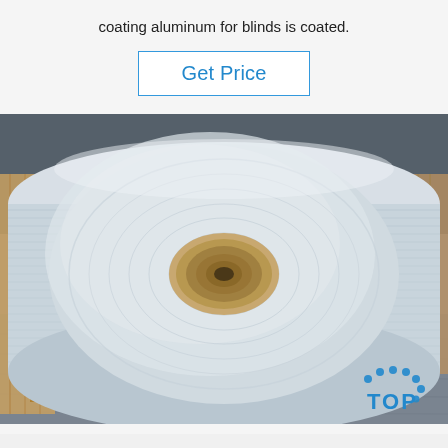coating aluminum for blinds is coated.
Get Price
[Figure (photo): Large roll of coated aluminum for blinds, shown from the front end with a hollow cardboard core visible, placed on wooden pallets in a warehouse.]